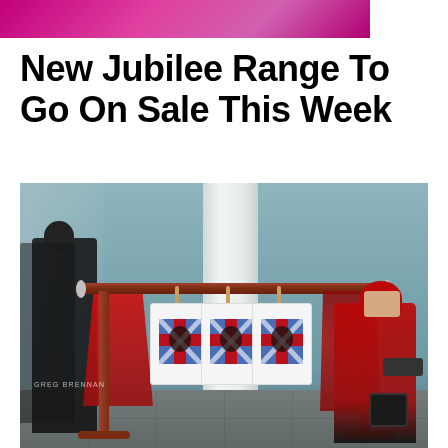[Figure (photo): Cropped top of an image showing a pink/magenta background, partial top of the main image]
New Jubilee Range To Go On Sale This Week
[Figure (photo): Photo showing Queen Elizabeth II dressed in red coat and hat, looking at a clothing rack displaying Union Jack t-shirts. A guard in black stands in a mirror reflection on the left. The setting appears to be an indoor venue with grey-green walls and a white pillar. Photographer credit: GREG BRENNAN]